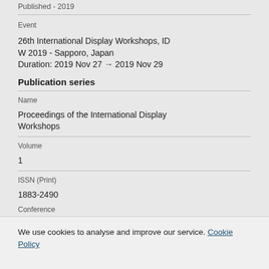Published - 2019
Event
26th International Display Workshops, IDW 2019 - Sapporo, Japan
Duration: 2019 Nov 27 → 2019 Nov 29
Publication series
Name
Proceedings of the International Display Workshops
Volume
1
ISSN (Print)
1883-2490
Conference
We use cookies to analyse and improve our service. Cookie Policy